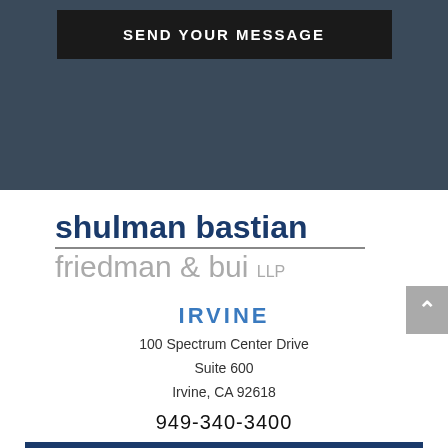SEND YOUR MESSAGE
[Figure (logo): Shulman Bastian Friedman & Bui LLP law firm logo with two-line text]
IRVINE
100 Spectrum Center Drive
Suite 600
Irvine, CA 92618
949-340-3400
MAP & DIRECTIONS